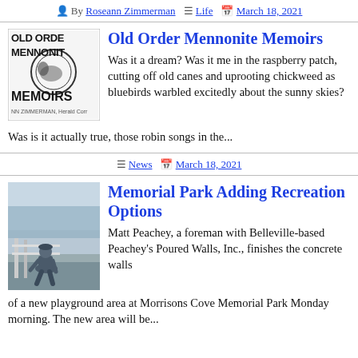By Roseann Zimmerman  Life  March 18, 2021
[Figure (photo): Book cover of Old Order Mennonite Memoirs by Roseann Zimmerman, Herald Correspondent]
Old Order Mennonite Memoirs
Was it a dream? Was it me in the raspberry patch, cutting off old canes and uprooting chickweed as bluebirds warbled excitedly about the sunny skies? Was is it actually true, those robin songs in the...
News  March 18, 2021
[Figure (photo): Matt Peachey, a foreman with Belleville-based Peachey's Poured Walls, Inc., working at Morrisons Cove Memorial Park]
Memorial Park Adding Recreation Options
Matt Peachey, a foreman with Belleville-based Peachey's Poured Walls, Inc., finishes the concrete walls of a new playground area at Morrisons Cove Memorial Park Monday morning. The new area will be...